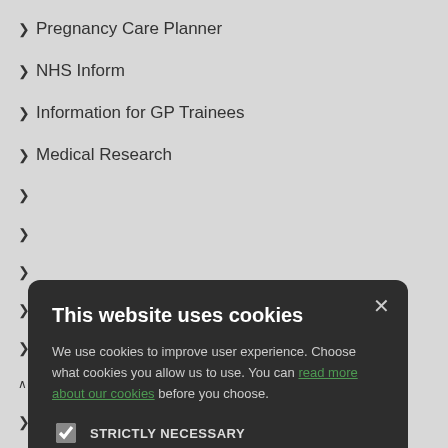Pregnancy Care Planner
NHS Inform
Information for GP Trainees
Medical Research
This website uses cookies
We use cookies to improve user experience. Choose what cookies you allow us to use. You can read more about our cookies before you choose.
STRICTLY NECESSARY
PERFORMANCE
TARGETING
FUNCTIONALITY
ACCEPT ALL
DECLINE ALL
Minor Illness